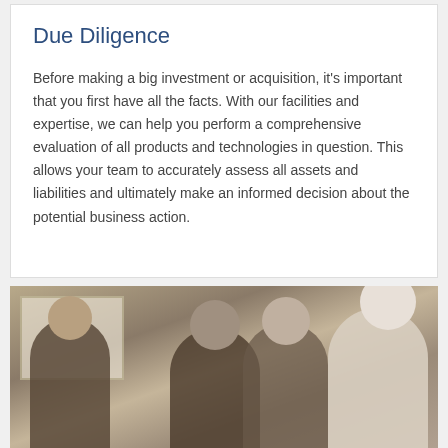Due Diligence
Before making a big investment or acquisition, it's important that you first have all the facts. With our facilities and expertise, we can help you perform a comprehensive evaluation of all products and technologies in question. This allows your team to accurately assess all assets and liabilities and ultimately make an informed decision about the potential business action.
[Figure (photo): A group of people in a meeting room, viewed from below/angle, with a whiteboard visible in the background. Multiple individuals including an older person with white hair on the right side.]